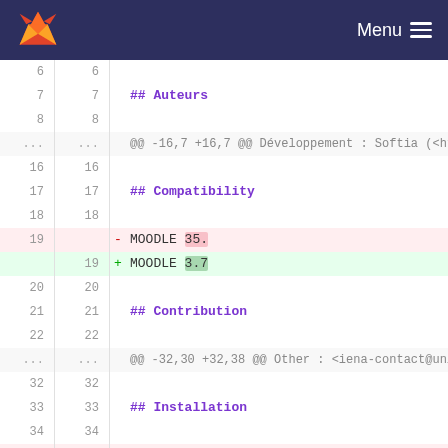GitLab navigation with fox logo and Menu
Diff view showing changes to a README or markdown file with sections: Auteurs, Compatibility (MOODLE 35. -> MOODLE 3.7), Contribution, Installation. Lines 7-35 shown.